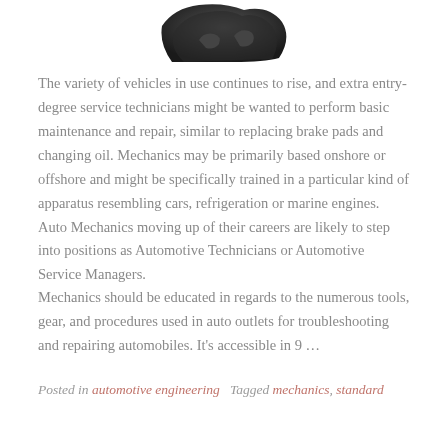[Figure (photo): Partial image of a mechanical engine or automotive part, dark colored, shown at top of page]
The variety of vehicles in use continues to rise, and extra entry-degree service technicians might be wanted to perform basic maintenance and repair, similar to replacing brake pads and changing oil. Mechanics may be primarily based onshore or offshore and might be specifically trained in a particular kind of apparatus resembling cars, refrigeration or marine engines. Auto Mechanics moving up of their careers are likely to step into positions as Automotive Technicians or Automotive Service Managers.
Mechanics should be educated in regards to the numerous tools, gear, and procedures used in auto outlets for troubleshooting and repairing automobiles. It's accessible in 9 …
Posted in automotive engineering   Tagged mechanics, standard